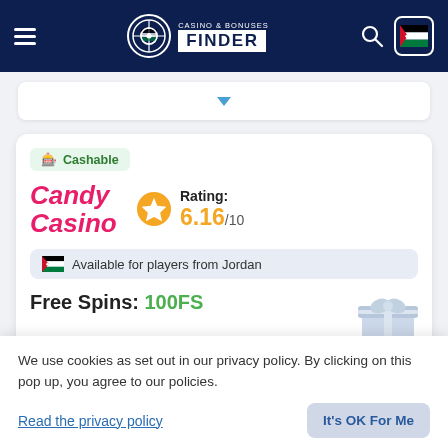[Figure (screenshot): Casino & Bonuses Finder website header with hamburger menu, logo, search icon, and Jordan flag button on dark navy background]
[Figure (screenshot): Dropdown selector bar with blue downward arrow]
Cashable
[Figure (logo): Candy Casino logo in pink italic script]
Rating: 6.16/10
Available for players from Jordan
Free Spins: 100FS
We use cookies as set out in our privacy policy. By clicking on this pop up, you agree to our policies.
Read the privacy policy
It's OK For Me